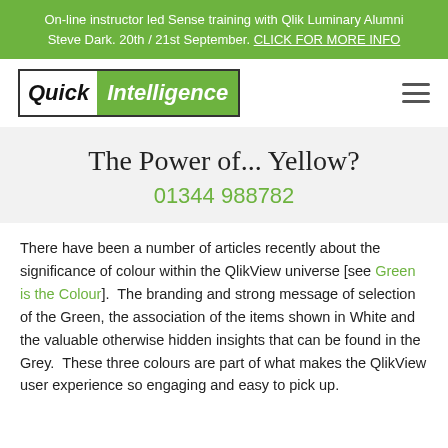On-line instructor led Sense training with Qlik Luminary Alumni Steve Dark. 20th / 21st September. CLICK FOR MORE INFO
[Figure (logo): Quick Intelligence logo: 'Quick' in black italic bold on white background, 'Intelligence' in white italic on green background, both inside a black border rectangle]
The Power of... Yellow?
01344 988782
There have been a number of articles recently about the significance of colour within the QlikView universe [see Green is the Colour].  The branding and strong message of selection of the Green, the association of the items shown in White and the valuable otherwise hidden insights that can be found in the Grey.  These three colours are part of what makes the QlikView user experience so engaging and easy to pick up.